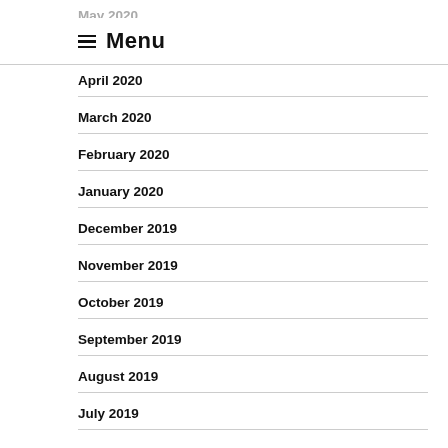☰ Menu
May 2020
April 2020
March 2020
February 2020
January 2020
December 2019
November 2019
October 2019
September 2019
August 2019
July 2019
June 2019
May 2019
April 2019